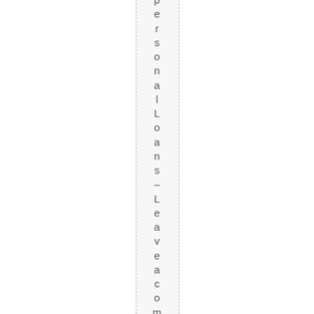Personal Loans – Leave a comment